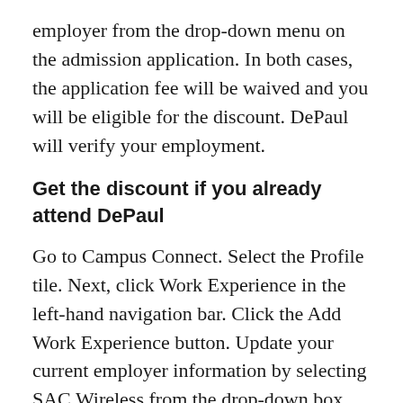employer from the drop-down menu on the admission application. In both cases, the application fee will be waived and you will be eligible for the discount. DePaul will verify your employment.
Get the discount if you already attend DePaul
Go to Campus Connect. Select the Profile tile. Next, click Work Experience in the left-hand navigation bar. Click the Add Work Experience button. Update your current employer information by selecting SAC Wireless from the drop-down box.
You will be required to attach proof of your